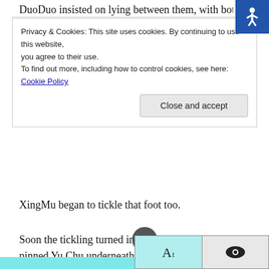DuoDuo insisted on lying between them, with both feet resti…
Privacy & Cookies: This site uses cookies. By continuing to use this website, you agree to their use.
To find out more, including how to control cookies, see here: Cookie Policy
Close and accept
XingMu began to tickle that foot too.
Soon the tickling turned into a melee. Xie XingMu pinned Yu Chu underneath him and grabbed one of his feet and tickled it. Yu Chu broke free, laughing so hard that he was about to die, he curled up like a shrimp that had been cooked.
Xie XingMu suddenly stopped moving and looked at Yu Chu with both hands on the side of his head, his eyes dark and stormy, with dangerous emotions churning inside.
Yu Chu was still smiling, eyes moist, cheeks flushed, slightly gasping, and Xie XingMu stared at him for a few s… slowly putting away the smile.